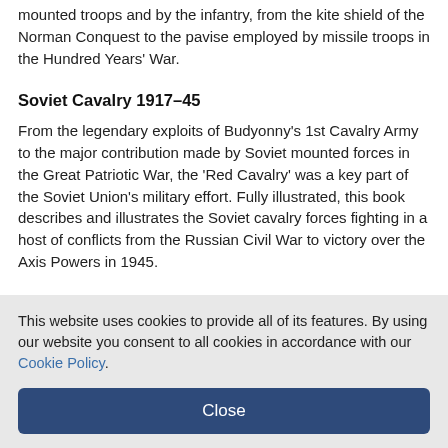mounted troops and by the infantry, from the kite shield of the Norman Conquest to the pavise employed by missile troops in the Hundred Years' War.
Soviet Cavalry 1917–45
From the legendary exploits of Budyonny's 1st Cavalry Army to the major contribution made by Soviet mounted forces in the Great Patriotic War, the 'Red Cavalry' was a key part of the Soviet Union's military effort. Fully illustrated, this book describes and illustrates the Soviet cavalry forces fighting in a host of conflicts from the Russian Civil War to victory over the Axis Powers in 1945.
Make your vote by clicking here!
This website uses cookies to provide all of its features. By using our website you consent to all cookies in accordance with our Cookie Policy.
Close